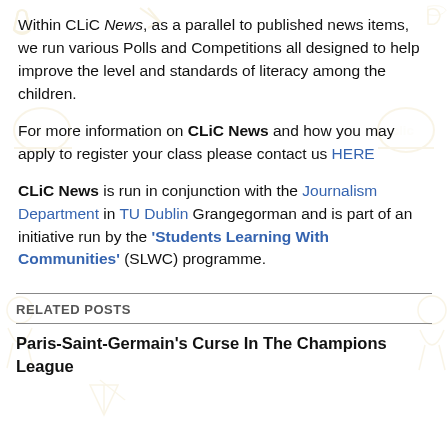Within CLiC News, as a parallel to published news items, we run various Polls and Competitions all designed to help improve the level and standards of literacy among the children.
For more information on CLiC News and how you may apply to register your class please contact us HERE
CLiC News is run in conjunction with the Journalism Department in TU Dublin Grangegorman and is part of an initiative run by the 'Students Learning With Communities' (SLWC) programme.
RELATED POSTS
Paris-Saint-Germain's Curse In The Champions League